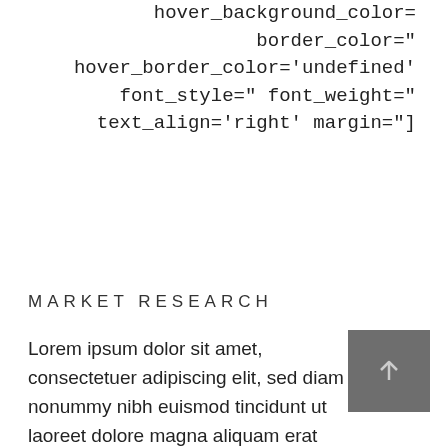hover_background_color= border_color=" hover_border_color='undefined' font_style=" font_weight=" text_align='right' margin="]
MARKET RESEARCH
Lorem ipsum dolor sit amet, consectetuer adipiscing elit, sed diam nonummy nibh euismod tincidunt ut laoreet dolore magna aliquam erat volutpat. Ut wisi enim ad minim veniam
[Figure (other): Small grey thumbnail image with a faint upward arrow icon]